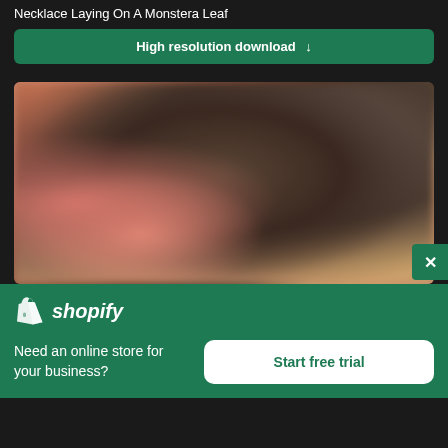Necklace Laying On A Monstera Leaf
High resolution download ↓
[Figure (photo): Blurred close-up photo of hands holding a dark metallic necklace clasp, with painted fingernails visible]
[Figure (logo): Shopify logo — shopping bag icon with 'shopify' text in white italic on green background]
Need an online store for your business?
Start free trial